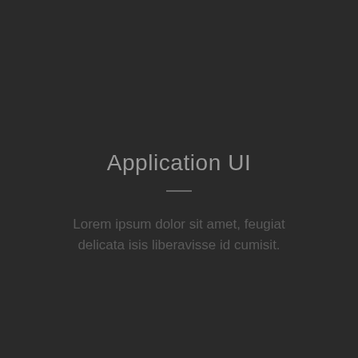Application UI
Lorem ipsum dolor sit amet, feugiat delicata isis liberavisse id cumisit.